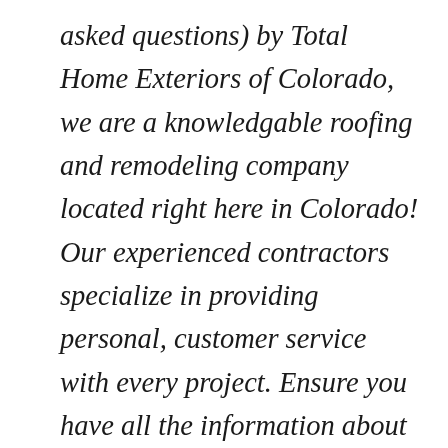asked questions) by Total Home Exteriors of Colorado, we are a knowledgable roofing and remodeling company located right here in Colorado! Our experienced contractors specialize in providing personal, customer service with every project. Ensure you have all the information about our services beforehand by reading the following questions about roofing.